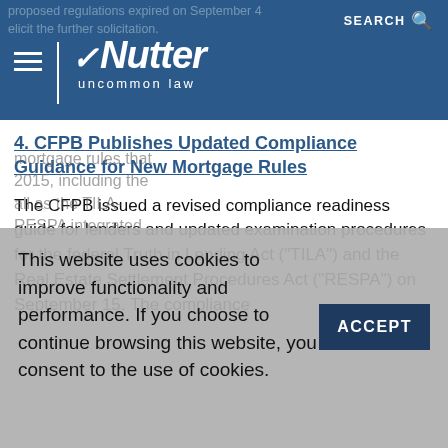Nutter | uncommon law
4. CFPB Publishes Updated Compliance Guidance for New Mortgage Rules
The CFPB issued a revised compliance readiness guide for lenders and updated examination procedures for the federal Truth in Lending Act (“TILA”) and the Real Estate Settlement Procedures Act (“RESPA”) on September 15. The compliance
This website uses cookies to improve functionality and performance. If you choose to continue browsing this website, you consent to the use of cookies.